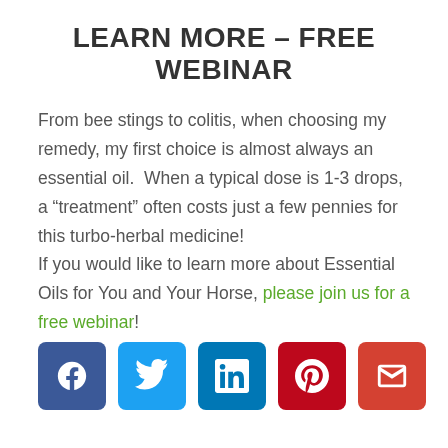LEARN MORE – FREE WEBINAR
From bee stings to colitis, when choosing my remedy, my first choice is almost always an essential oil.  When a typical dose is 1-3 drops, a “treatment” often costs just a few pennies for this turbo-herbal medicine!
If you would like to learn more about Essential Oils for You and Your Horse, please join us for a free webinar!
[Figure (infographic): Row of five social media share buttons: Facebook (blue), Twitter (light blue), LinkedIn (dark blue), Pinterest (red), Email (orange-red)]